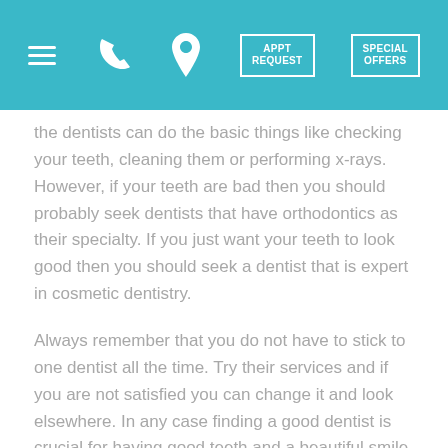Navigation bar with menu, phone, location, APPT REQUEST, SPECIAL OFFERS
the dentists can do the basic things like checking your teeth, cleaning them or performing x-rays. However, if your teeth are bad then you should probably seek dentists that have orthodontics as their specialty. If you just want your teeth to look good then you should seek a dentist that is expert in cosmetic dentistry.
Always remember that you do not have to stick to one dentist all the time. Try their services and if you are not satisfied you can change it and look elsewhere. In any case finding a good dentist is crucial for having good teeth and a beautiful smile.